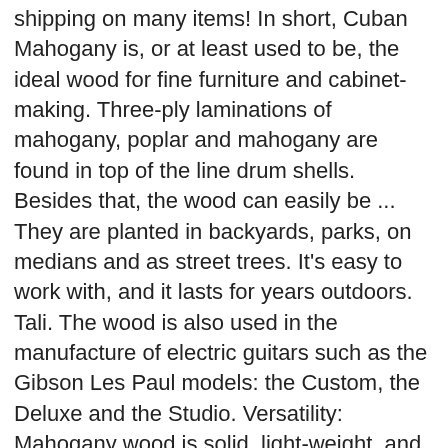shipping on many items! In short, Cuban Mahogany is, or at least used to be, the ideal wood for fine furniture and cabinet-making. Three-ply laminations of mahogany, poplar and mahogany are found in top of the line drum shells. Besides that, the wood can easily be ... They are planted in backyards, parks, on medians and as street trees. It's easy to work with, and it lasts for years outdoors. Tali. The wood is also used in the manufacture of electric guitars such as the Gibson Les Paul models: the Custom, the Deluxe and the Studio. Versatility: Mahogany wood is solid, light-weight, and resilient material due to which it is made in a number of shapes & designs. Most of the mahogany wood we find in the market today is a macrophylla. Mahogany is a truly unique wood with both versatility and beauty. Get the best deals on Mahogany Craft Woodworking Lumber and find everything you'll need to make your crafting ideas come to life with eBay.com. The growth cycle of